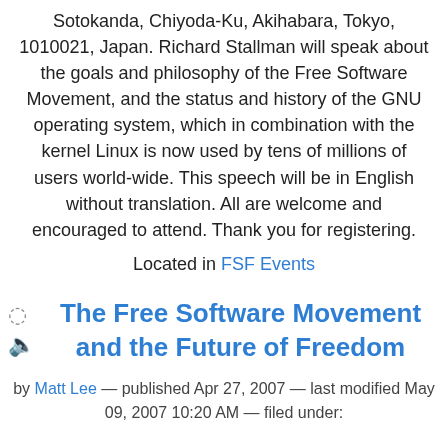Sotokanda, Chiyoda-Ku, Akihabara, Tokyo, 1010021, Japan. Richard Stallman will speak about the goals and philosophy of the Free Software Movement, and the status and history of the GNU operating system, which in combination with the kernel Linux is now used by tens of millions of users world-wide. This speech will be in English without translation. All are welcome and encouraged to attend. Thank you for registering.
Located in FSF Events
The Free Software Movement and the Future of Freedom
by Matt Lee — published Apr 27, 2007 — last modified May 09, 2007 10:20 AM — filed under: